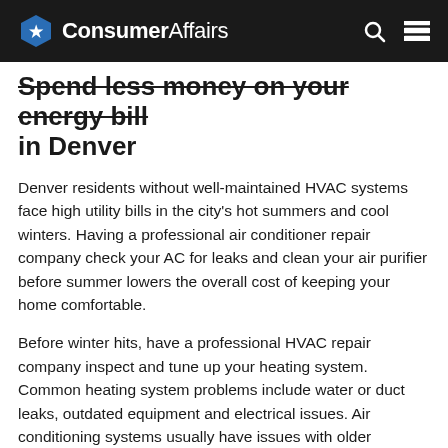ConsumerAffairs
Spend less money on your energy bill in Denver
Denver residents without well-maintained HVAC systems face high utility bills in the city's hot summers and cool winters. Having a professional air conditioner repair company check your AC for leaks and clean your air purifier before summer lowers the overall cost of keeping your home comfortable.
Before winter hits, have a professional HVAC repair company inspect and tune up your heating system. Common heating system problems include water or duct leaks, outdated equipment and electrical issues. Air conditioning systems usually have issues with older equipment, refrigerant leaks and coil or compressor damage.